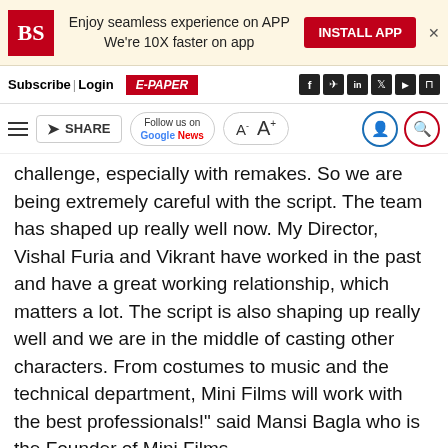[Figure (screenshot): Business Standard app install banner with BS logo, 'Enjoy seamless experience on APP / We're 10X faster on app', and INSTALL APP button]
Subscribe| Login   E-PAPER   [social icons: f, telegram, in, twitter, youtube, rss]
[Figure (screenshot): Toolbar with hamburger menu, SHARE button, Follow us on Google News, A- A+ font controls, user and search icons]
challenge, especially with remakes. So we are being extremely careful with the script. The team has shaped up really well now. My Director, Vishal Furia and Vikrant have worked in the past and have a great working relationship, which matters a lot. The script is also shaping up really well and we are in the middle of casting other characters. From costumes to music and the technical department, Mini Films will work with the best professionals!" said Mansi Bagla who is the Founder of Mini Films.
"This is a very challenging film, the original is a very gripping watch, we have to up the ante with the Hindi